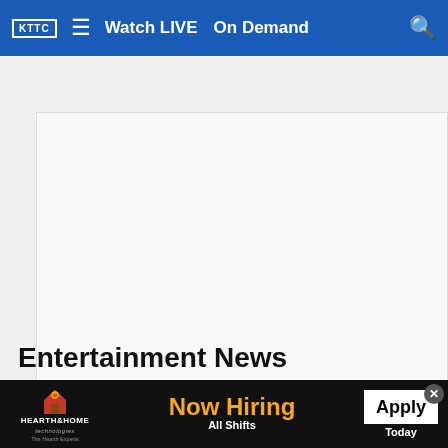KTTC | Watch LIVE | On Demand
[Figure (other): Advertisement placeholder box (white/light gray empty rectangle)]
Entertainment News
[Figure (screenshot): News article thumbnail with NATIONAL label overlay showing shoppers at Bed Bath & Beyond]
Shoppers enter and exit a Bed Bath & Beyond in Schaumburg, Ill., Jan. 14, 2021. Shares of Bed...
[Figure (other): Bottom banner advertisement: HEARTH & HOME technologies - The Hearth Experts | Now Hiring All Shifts | Apply Today]